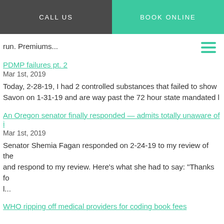CALL US | BOOK ONLINE
run. Premiums...
PDMP failures pt. 2
Mar 1st, 2019
Today, 2-28-19, I had 2 controlled substances that failed to show Savon on 1-31-19 and are way past the 72 hour state mandated l
An Oregon senator finally responded — admits totally unaware of i
Mar 1st, 2019
Senator Shemia Fagan responded on 2-24-19 to my review of the and respond to my review. Here’s what she had to say: “Thanks fo l...
WHO ripping off medical providers for coding book fees